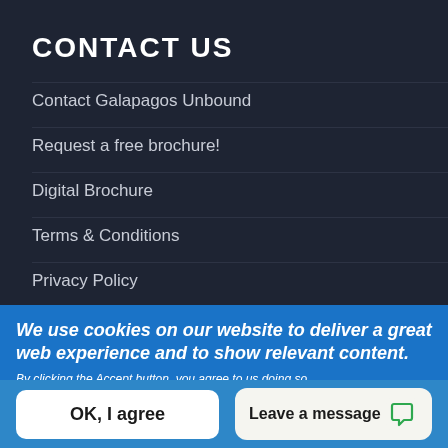CONTACT US
Contact Galapagos Unbound
Request a free brochure!
Digital Brochure
Terms & Conditions
Privacy Policy
Site Map
We use cookies on our website to deliver a great web experience and to show relevant content.
By clicking the Accept button, you agree to us doing so.
No, give me more info
OK, I agree
Leave a message